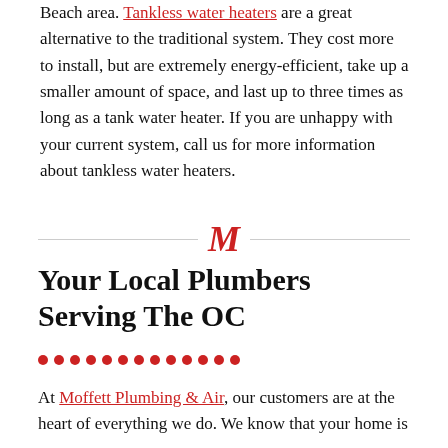Beach area. Tankless water heaters are a great alternative to the traditional system. They cost more to install, but are extremely energy-efficient, take up a smaller amount of space, and last up to three times as long as a tank water heater. If you are unhappy with your current system, call us for more information about tankless water heaters.
[Figure (logo): Letter M logo in red italic serif font between two horizontal divider lines]
Your Local Plumbers Serving The OC
At Moffett Plumbing & Air, our customers are at the heart of everything we do. We know that your home is